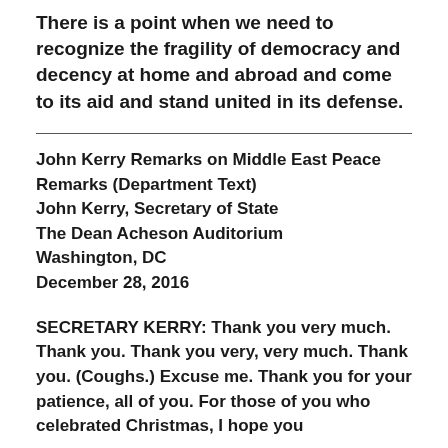There is a point when we need to recognize the fragility of democracy and decency at home and abroad and come to its aid and stand united in its defense.
John Kerry Remarks on Middle East Peace Remarks (Department Text)
John Kerry, Secretary of State
The Dean Acheson Auditorium
Washington, DC
December 28, 2016
SECRETARY KERRY: Thank you very much. Thank you. Thank you very, very much. Thank you. (Coughs.) Excuse me. Thank you for your patience, all of you. For those of you who celebrated Christmas, I hope you